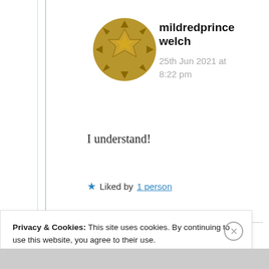mildredprince welch
25th Jun 2021 at 8:22 pm
I understand!
★ Liked by 1 person
Privacy & Cookies: This site uses cookies. By continuing to use this website, you agree to their use.
To find out more, including how to control cookies, see here: Cookie Policy
Close and accept